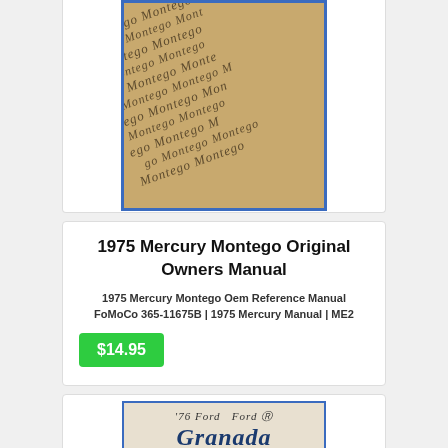[Figure (photo): 1975 Mercury Montego owners manual cover with tan/brown background repeating 'Montego' text in italic script, with blue border]
1975 Mercury Montego Original Owners Manual
1975 Mercury Montego Oem Reference Manual FoMoCo 365-11675B | 1975 Mercury Manual | ME2
$14.95
[Figure (photo): 1976 Ford Granada owners manual cover showing '76 Ford Granada' title on cream top section and blue bottom section with table of contents listing Introduction, Maintenance, Instruments & Controls, Making It Easy On Your Car]